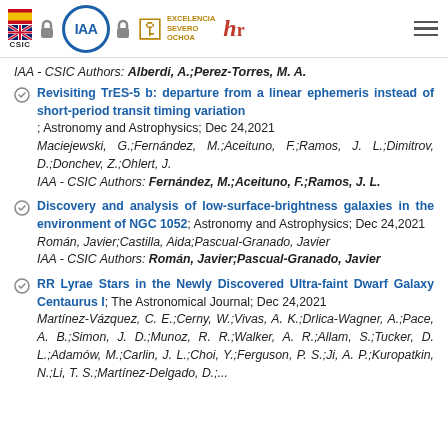IAA logos and navigation header
IAA - CSIC Authors: Alberdi, A.;Perez-Torres, M. A.
Revisiting TrES-5 b: departure from a linear ephemeris instead of short-period transit timing variation; Astronomy and Astrophysics; Dec 24,2021
Maciejewski, G.;Fernández, M.;Aceituno, F.;Ramos, J. L.;Dimitrov, D.;Donchev, Z.;Ohlert, J.
IAA - CSIC Authors: Fernández, M.;Aceituno, F.;Ramos, J. L.
Discovery and analysis of low-surface-brightness galaxies in the environment of NGC 1052; Astronomy and Astrophysics; Dec 24,2021
Román, Javier;Castilla, Aida;Pascual-Granado, Javier
IAA - CSIC Authors: Román, Javier;Pascual-Granado, Javier
RR Lyrae Stars in the Newly Discovered Ultra-faint Dwarf Galaxy Centaurus I; The Astronomical Journal; Dec 24,2021
Martínez-Vázquez, C. E.;Cerny, W.;Vivas, A. K.;Drlica-Wagner, A.;Pace, A. B.;Simon, J. D.;Munoz, R. R.;Walker, A. R.;Allam, S.;Tucker, D. L.;Adamów, M.;Carlin, J. L.;Choi, Y.;Ferguson, P. S.;Ji, A. P.;Kuropatkin, N.;Li, T. S.;Martínez-Delgado, D.;...